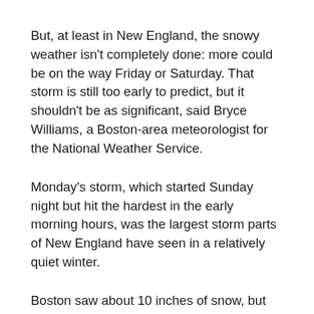But, at least in New England, the snowy weather isn't completely done: more could be on the way Friday or Saturday. That storm is still too early to predict, but it shouldn't be as significant, said Bryce Williams, a Boston-area meteorologist for the National Weather Service.
Monday's storm, which started Sunday night but hit the hardest in the early morning hours, was the largest storm parts of New England have seen in a relatively quiet winter.
Boston saw about 10 inches of snow, but parts of Connecticut, Rhode Island and Massachusetts saw up to 16 inches (41 centimeters), according to the National Weather Service. The Boston-area has now registered about 26 inches (66 centimeters) of snowfall this season, still below the region's average of over 35 inches (90 centimeters).